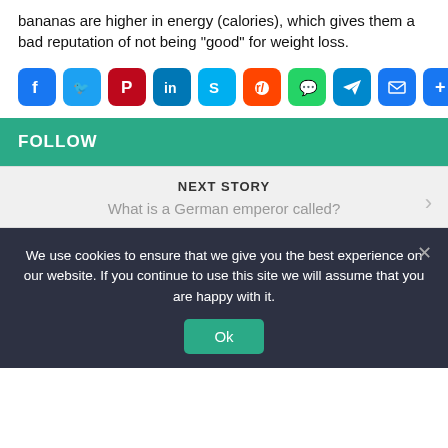bananas are higher in energy (calories), which gives them a bad reputation of not being “good” for weight loss.
[Figure (infographic): Row of social media share buttons: Facebook, Twitter, Pinterest, LinkedIn, Skype, Reddit, WhatsApp, Telegram, Email, Share/More]
FOLLOW
NEXT STORY
What is a German emperor called?
We use cookies to ensure that we give you the best experience on our website. If you continue to use this site we will assume that you are happy with it.